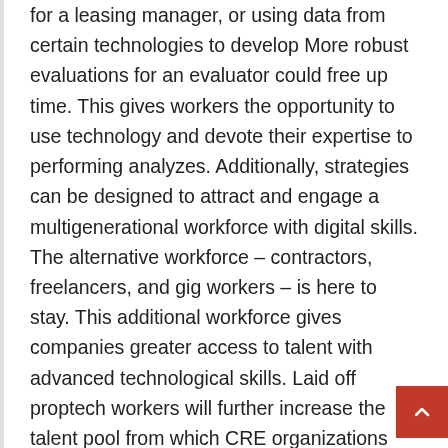for a leasing manager, or using data from certain technologies to develop More robust evaluations for an evaluator could free up time. This gives workers the opportunity to use technology and devote their expertise to performing analyzes. Additionally, strategies can be designed to attract and engage a multigenerational workforce with digital skills. The alternative workforce – contractors, freelancers, and gig workers – is here to stay. This additional workforce gives companies greater access to talent with advanced technological skills. Laid off proptech workers will further increase the talent pool from which CRE organizations can hire.
Digitization and transformation of